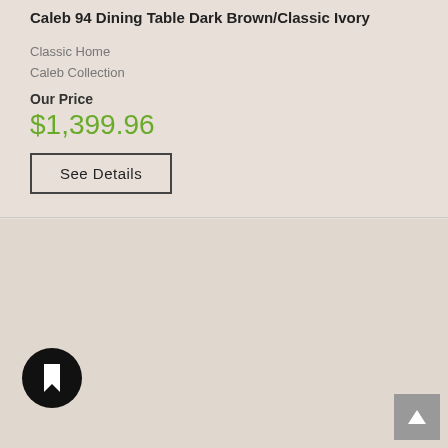Caleb 94 Dining Table Dark Brown/Classic Ivory
Classic Home
Caleb Collection
Our Price
$1,399.96
See Details
[Figure (photo): Dining table with trestle base, dark brown finish, rectangular top with two ornate pedestal legs connected by a stretcher, shown on white background]